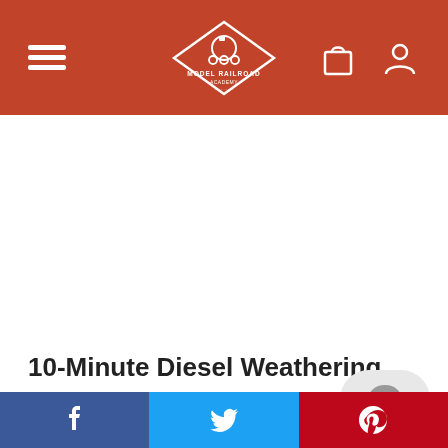Model Railroad Academy — Navigation bar with hamburger menu, logo, shopping bag and user icons
[Figure (screenshot): Large white blank content area, likely an advertisement or image placeholder]
10-Minute Diesel Weathering
By ALLEN KELLER
This is a new HO scale E-7 diesel. It's well deta...
Social share bar: Facebook, Twitter, Pinterest